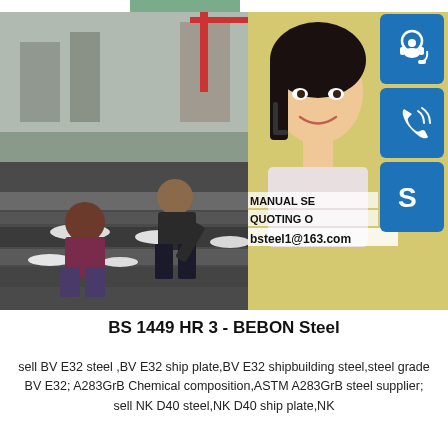[Figure (photo): Composite image: Left side shows workers handling large steel plates outdoors in winter/industrial setting. Right side shows a smiling Asian woman with a headset (customer service). Far right column has three blue icon buttons (headset, phone, Skype). Overlaid text shows 'MANUAL SE', 'QUOTING O', 'bsteel1@163.com'. A green bar appears at top center.]
BS 1449 HR 3 - BEBON Steel
sell BV E32 steel ,BV E32 ship plate,BV E32 shipbuilding steel,steel grade BV E32; A283GrB Chemical composition,ASTM A283GrB steel supplier; sell NK D40 steel,NK D40 ship plate,NK